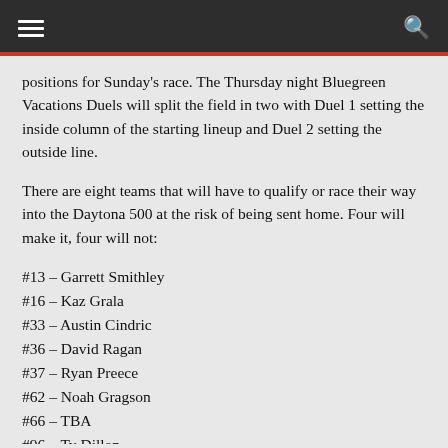positions for Sunday's race. The Thursday night Bluegreen Vacations Duels will split the field in two with Duel 1 setting the inside column of the starting lineup and Duel 2 setting the outside line.
There are eight teams that will have to qualify or race their way into the Daytona 500 at the risk of being sent home. Four will make it, four will not:
#13 – Garrett Smithley
#16 – Kaz Grala
#33 – Austin Cindric
#36 – David Ragan
#37 – Ryan Preece
#62 – Noah Gragson
#66 – TBA
#96 – Ty Dillon
Among these eight teams, the top finisher in each Duel race will qualify for the Daytona 500, then the two fastest qualifiers who